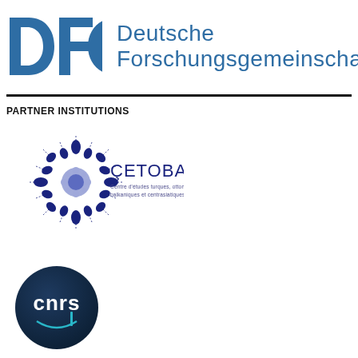[Figure (logo): DFG (Deutsche Forschungsgemeinschaft) logo with blue DFG letters and text]
PARTNER INSTITUTIONS
[Figure (logo): CETOBAC logo - Centre d'études turques, ottomanes, balkaniques et centrasiatiques - with decorative blue star/flower emblem]
[Figure (logo): CNRS logo - dark blue circular badge with cnrs text in white and cyan]